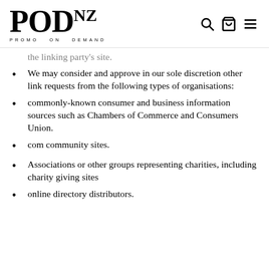POD NZ — PROMO ON DEMAND (logo with search, cart, menu icons)
the linking party's site.
We may consider and approve in our sole discretion other link requests from the following types of organisations:
commonly-known consumer and business information sources such as Chambers of Commerce and Consumers Union.
com community sites.
Associations or other groups representing charities, including charity giving sites
online directory distributors.